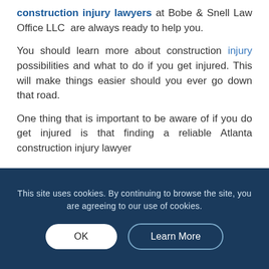construction injury lawyers at Bobe & Snell Law Office LLC are always ready to help you.
You should learn more about construction injury possibilities and what to do if you get injured. This will make things easier should you ever go down that road.
One thing that is important to be aware of if you do get injured is that finding a reliable Atlanta construction injury lawyer
This site uses cookies. By continuing to browse the site, you are agreeing to our use of cookies.